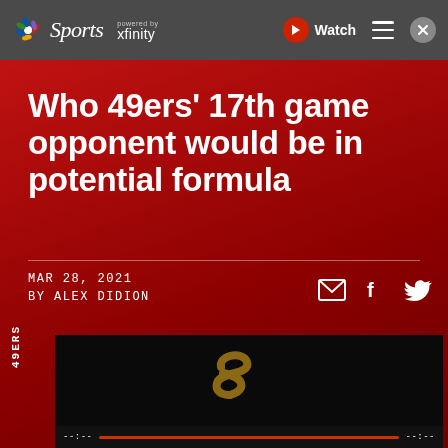NBC Sports powered by xfinity — Watch
Who 49ers' 17th game opponent would be in potential formula
MAR 28, 2021
BY ALEX DIDION
[Figure (screenshot): Video player thumbnail showing a dark screen with a stylized 'S' logo, with playback controls at the bottom]
49ERS